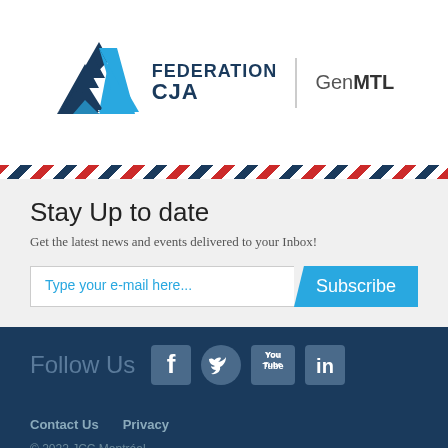[Figure (logo): Federation CJA GenMTL logo with Star of David icon, vertical divider, and GenMTL text]
[Figure (illustration): Airmail diagonal stripe border in red, white, and navy blue]
Stay Up to date
Get the latest news and events delivered to your Inbox!
Type your e-mail here...   Subscribe
Follow Us
[Figure (illustration): Social media icons: Facebook, Twitter, YouTube, LinkedIn]
Contact Us   Privacy
© 2022 JCC Montréal